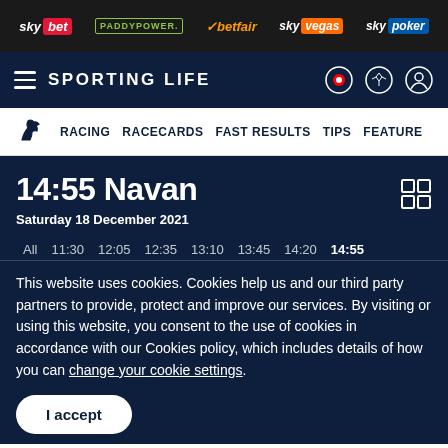sky bet | PADDYPOWER. | betfair | sky vegas | sky poker
SPORTING LIFE
RACING  RACECARDS  FAST RESULTS  TIPS  FEATURES
14:55 Navan
Saturday 18 December 2021
All  11:30  12:05  12:35  13:10  13:45  14:20  14:55
This website uses cookies. Cookies help us and our third party partners to provide, protect and improve our services. By visiting or using this website, you consent to the use of cookies in accordance with our Cookies policy, which includes details of how you can change your cookie settings.
I accept